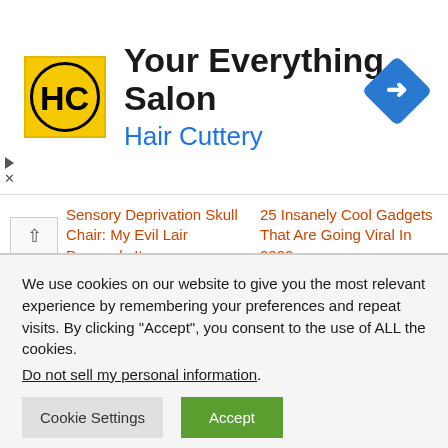[Figure (logo): Hair Cuttery advertisement banner with HC logo on yellow background, title 'Your Everything Salon' and subtitle 'Hair Cuttery' in blue, with a blue navigation diamond icon on the right]
Sensory Deprivation Skull Chair: My Evil Lair Demands It
technabob
25 Insanely Cool Gadgets That Are Going Viral In 2022
Trending Guides
We use cookies on our website to give you the most relevant experience by remembering your preferences and repeat visits. By clicking “Accept”, you consent to the use of ALL the cookies.
Do not sell my personal information.